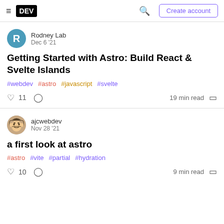DEV — Create account
Rodney Lab
Dec 6 '21
Getting Started with Astro: Build React & Svelte Islands
#webdev #astro #javascript #svelte
♡ 11  19 min read
ajcwebdev
Nov 28 '21
a first look at astro
#astro #vite #partial #hydration
♡ 10  9 min read